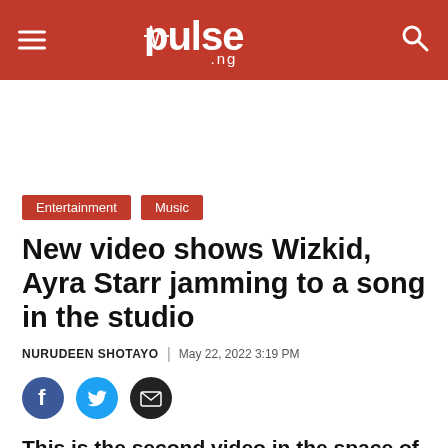pulse .ng
Entertainment | Music
New video shows Wizkid, Ayra Starr jamming to a song in the studio
NURUDEEN SHOTAYO | May 22, 2022 3:19 PM
[Figure (other): Social sharing icons: Facebook, Twitter, Email]
This is the second video in the space of one